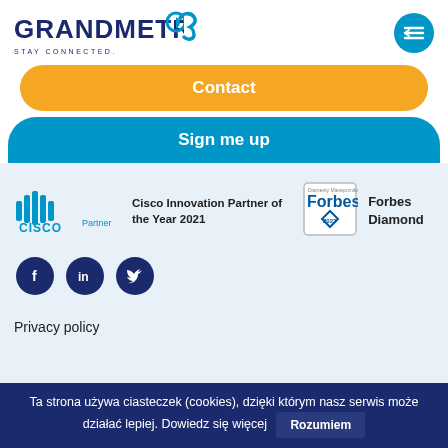[Figure (logo): Grandmetric logo with Stay Connected tagline and navigation menu button]
Contact
Sign me up
[Figure (logo): Cisco Partner logo - Cisco Innovation Partner of the Year 2021]
Cisco Innovation Partner of the Year 2021
[Figure (logo): Forbes Diamond 2022 badge]
Forbes Diamond
[Figure (infographic): Social media icons: Facebook, LinkedIn, Twitter]
Privacy policy
Ta strona używa ciasteczek (cookies), dzięki którym nasz serwis może działać lepiej. Dowiedz się więcej Rozumiem